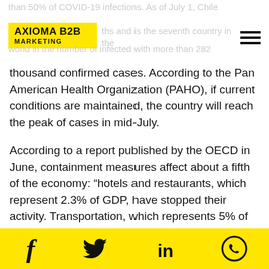than 50% of COVID-19 infections. As of July 1, Chile ...ths and is the seventh country in the world in the number of infected with more than 282
[Figure (logo): Axioma B2B Marketing logo on yellow background]
thousand confirmed cases. According to the Pan American Health Organization (PAHO), if current conditions are maintained, the country will reach the peak of cases in mid-July.
According to a report published by the OECD in June, containment measures affect about a fifth of the economy: “hotels and restaurants, which represent 2.3% of GDP, have stopped their activity. Transportation, which represents 5% of GDP, and retail sales, which operate at 50-60% of their capacity, threaten employment in these sectors. ”
The IMF forecasts that GDP will decrease by 7.5% in 2020
f  🐦  in  📱